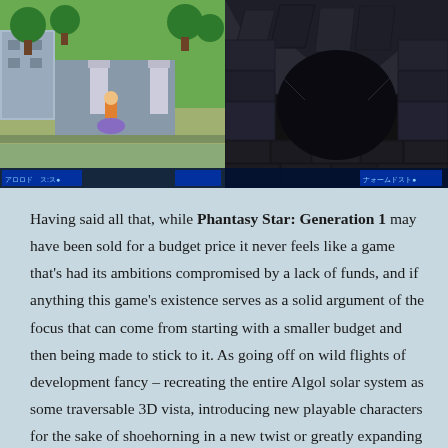[Figure (screenshot): Two side-by-side screenshots from Phantasy Star: Generation 1. Left screenshot shows a top-down RPG overworld with trees, buildings, and a character sprite on a tile-based green map. Right screenshot shows a 3D cave/dungeon corridor with stone walls and floor.]
Having said all that, while Phantasy Star: Generation 1 may have been sold for a budget price it never feels like a game that’s had its ambitions compromised by a lack of funds, and if anything this game’s existence serves as a solid argument of the focus that can come from starting with a smaller budget and then being made to stick to it. As going off on wild flights of development fancy – recreating the entire Algol solar system as some traversable 3D vista, introducing new playable characters for the sake of shoehorning in a new twist or greatly expanding the script – were all